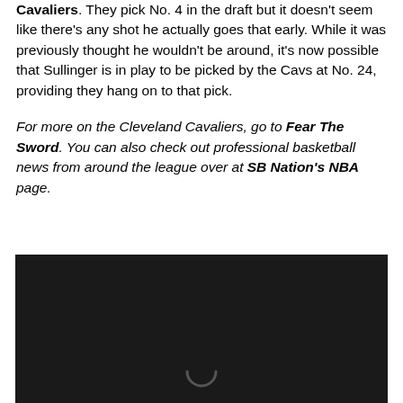Cavaliers. They pick No. 4 in the draft but it doesn't seem like there's any shot he actually goes that early. While it was previously thought he wouldn't be around, it's now possible that Sullinger is in play to be picked by the Cavs at No. 24, providing they hang on to that pick.
For more on the Cleveland Cavaliers, go to Fear The Sword. You can also check out professional basketball news from around the league over at SB Nation's NBA page.
[Figure (other): Dark/black video player or image area with a loading spinner icon at the bottom center]